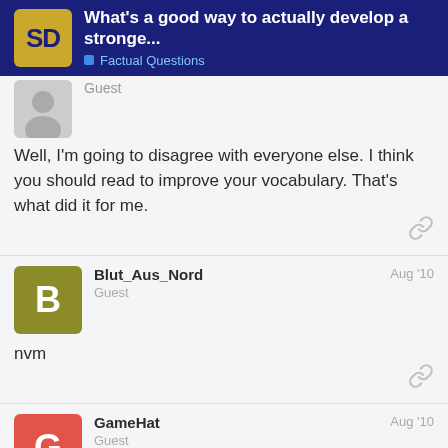What's a good way to actually develop a stronge... | Factual Questions
Well, I'm going to disagree with everyone else. I think you should read to improve your vocabulary. That's what did it for me.
Blut_Aus_Nord
Guest
Aug '10

nvm
GameHat
Guest
Aug '10
6 / 28